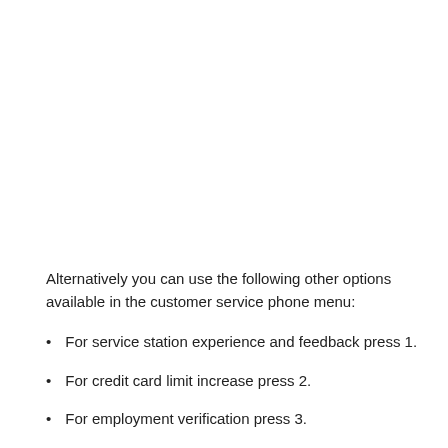Alternatively you can use the following other options available in the customer service phone menu:
For service station experience and feedback press 1.
For credit card limit increase press 2.
For employment verification press 3.
For human resources press 4.